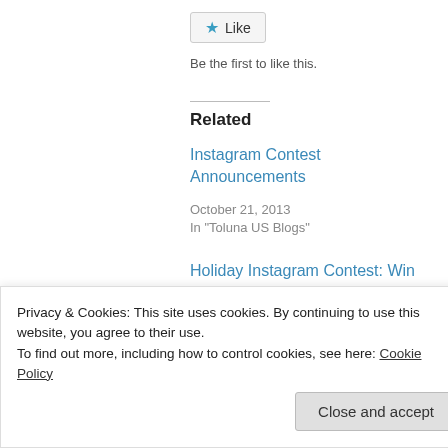[Figure (other): Like button with star icon]
Be the first to like this.
Related
Instagram Contest Announcements
October 21, 2013
In "Toluna US Blogs"
Holiday Instagram Contest: Win 20,000 points
December 2, 2013
Privacy & Cookies: This site uses cookies. By continuing to use this website, you agree to their use.
To find out more, including how to control cookies, see here: Cookie Policy
Close and accept